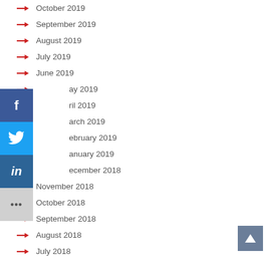October 2019
September 2019
August 2019
July 2019
June 2019
May 2019
April 2019
March 2019
February 2019
January 2019
December 2018
November 2018
October 2018
September 2018
August 2018
July 2018